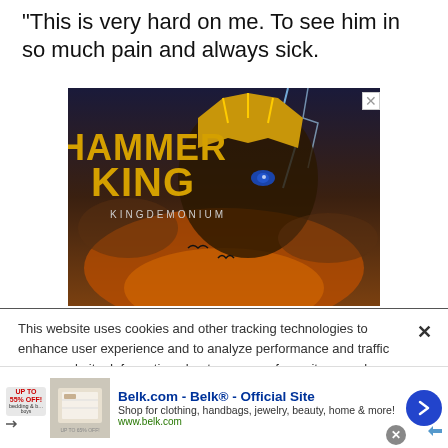“This is very hard on me. To see him in so much pain and always sick.
[Figure (illustration): Advertisement banner for Hammer King - Kingdemonium album/game, featuring fantasy art with armored figure, lightning, and the text HAMMER KING KINGDEMONIUM]
This website uses cookies and other tracking technologies to enhance user experience and to analyze performance and traffic on our website. Information about your use of our site may also be shared with social media, advertising, retail and analytics providers and partners.  Privacy Policy
[Figure (illustration): Bottom advertisement for Belk.com - Belk Official Site. Shop for clothing, handbags, jewelry, beauty, home & more! www.belk.com]